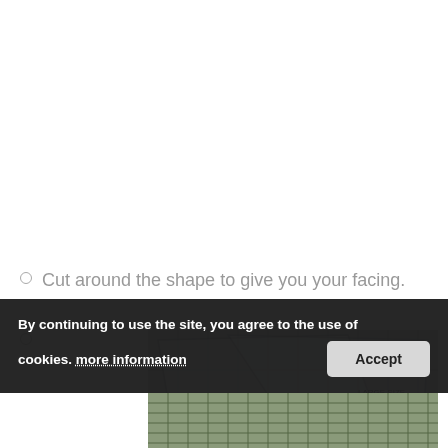Cut around the shape to give you your facing.
[Figure (photo): A person cutting fabric with scissors, using a transparent sewing pattern/ruler laid on top of light-colored fabric.]
By continuing to use the site, you agree to the use of cookies. more information
[Figure (photo): Bottom portion of a sewing image showing fabric with a grid pattern ruler.]